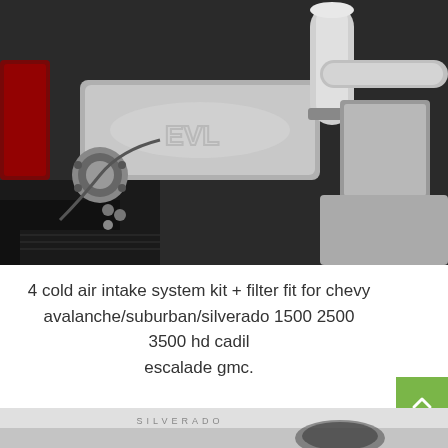[Figure (photo): Under-vehicle photo showing exhaust system with muffler and pipes, stainless steel components visible against dark undercarriage]
4 cold air intake system kit + filter fit for chevy avalanche/suburban/silverado 1500 2500 3500 hd cadillac escalade gmc.
[Figure (photo): Partial photo of Silverado vehicle, showing front/side with Silverado badge text visible]